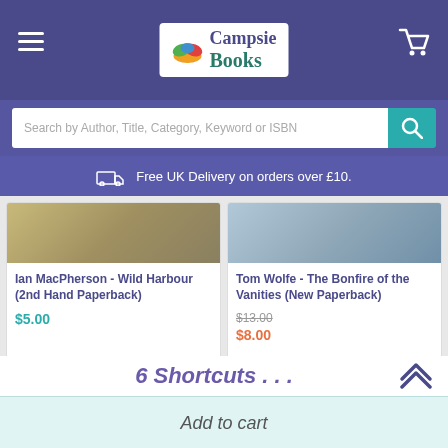Campsie Books - hamburger menu, cart icon, search bar
Free UK Delivery on orders over £10.
Ian MacPherson - Wild Harbour (2nd Hand Paperback) $5.00
Tom Wolfe - The Bonfire of the Vanities (New Paperback) $13.00 $8.00
6 Shortcuts . . .
Add to cart